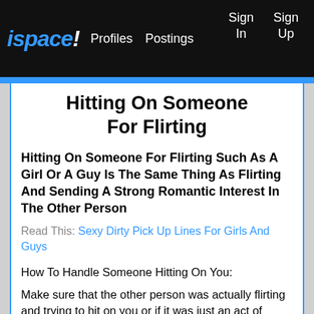ispace! Profiles Postings Sign In Sign Up
Hitting On Someone For Flirting
Hitting On Someone For Flirting Such As A Girl Or A Guy Is The Same Thing As Flirting And Sending A Strong Romantic Interest In The Other Person
Read This: Sexy Dirty Pick Up Lines For Girls And Guys
How To Handle Someone Hitting On You:
Make sure that the other person was actually flirting and trying to hit on you or if it was just an act of lighthearted playfulness from one or